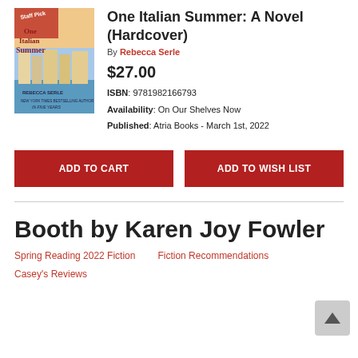[Figure (illustration): Book cover for 'One Italian Summer' by Rebecca Serle with a 'Staff Pick' banner]
One Italian Summer: A Novel (Hardcover)
By Rebecca Serle
$27.00
ISBN: 9781982166793
Availability: On Our Shelves Now
Published: Atria Books - March 1st, 2022
ADD TO CART
ADD TO WISH LIST
Booth by Karen Joy Fowler
Spring Reading 2022 Fiction
Fiction Recommendations
Casey's Reviews